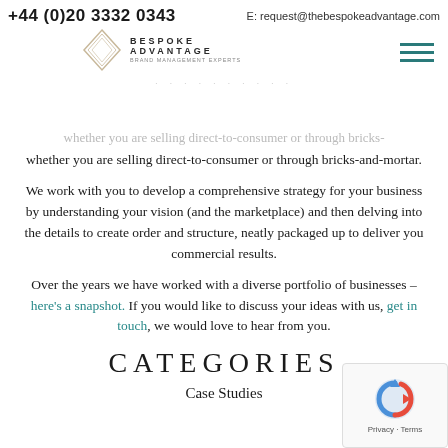+44 (0)20 3332 0343  E: request@thebespokeadvantage.com
[Figure (logo): Bespoke Advantage logo with diamond shape and company name]
whether you are selling direct-to-consumer or through bricks-and-mortar.
We work with you to develop a comprehensive strategy for your business by understanding your vision (and the marketplace) and then delving into the details to create order and structure, neatly packaged up to deliver you commercial results.
Over the years we have worked with a diverse portfolio of businesses – here's a snapshot. If you would like to discuss your ideas with us, get in touch, we would love to hear from you.
CATEGORIES
Case Studies